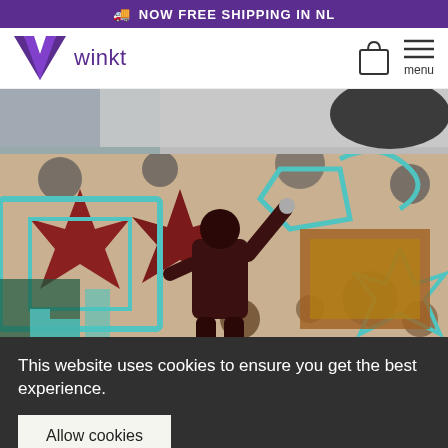🚚  NOW FREE SHIPPING IN NL
[Figure (logo): Winkt logo with purple W icon and text 'winkt', plus shopping bag and hamburger menu icons on the right]
[Figure (photo): Person in dark hoodie painting a colorful graffiti mural on a wall, featuring stars, abstract shapes in cyan, red, brown, and gold colors]
This website uses cookies to ensure you get the best experience.
Allow cookies